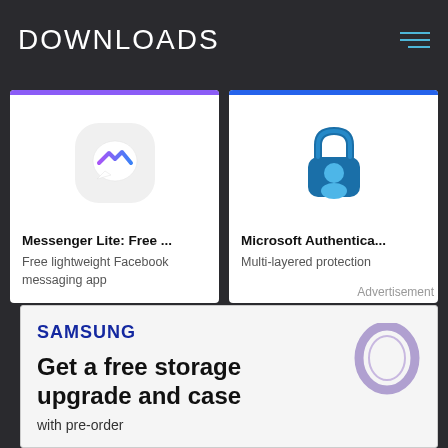DOWNLOADS
[Figure (screenshot): App card for Messenger Lite with purple top bar and speech bubble icon]
Messenger Lite: Free ...
Free lightweight Facebook messaging app
[Figure (screenshot): App card for Microsoft Authenticator with blue top bar and lock/person icon]
Microsoft Authentica...
Multi-layered protection
Advertisement
[Figure (infographic): Samsung advertisement: Get a free storage upgrade and case with pre-order, showing a keychain accessory]
SAMSUNG
Get a free storage upgrade and case
with pre-order